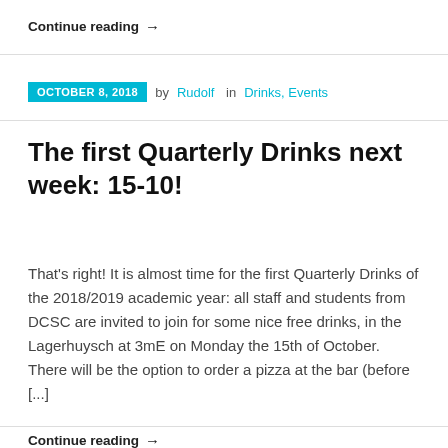Continue reading →
OCTOBER 8, 2018  by Rudolf  in Drinks, Events
The first Quarterly Drinks next week: 15-10!
That's right! It is almost time for the first Quarterly Drinks of the 2018/2019 academic year: all staff and students from DCSC are invited to join for some nice free drinks, in the Lagerhuysch at 3mE on Monday the 15th of October. There will be the option to order a pizza at the bar (before [...]
Continue reading →